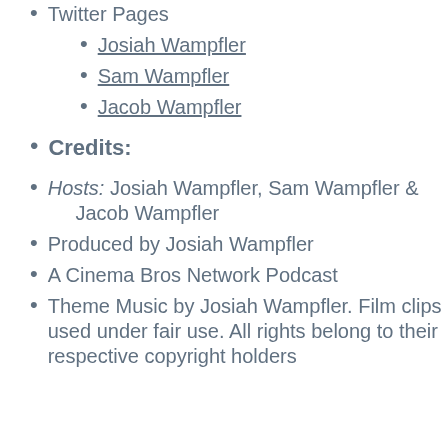Twitter Pages
Josiah Wampfler
Sam Wampfler
Jacob Wampfler
Credits:
Hosts: Josiah Wampfler, Sam Wampfler & Jacob Wampfler
Produced by Josiah Wampfler
A Cinema Bros Network Podcast
Theme Music by Josiah Wampfler. Film clips used under fair use. All rights belong to their respective copyright holders